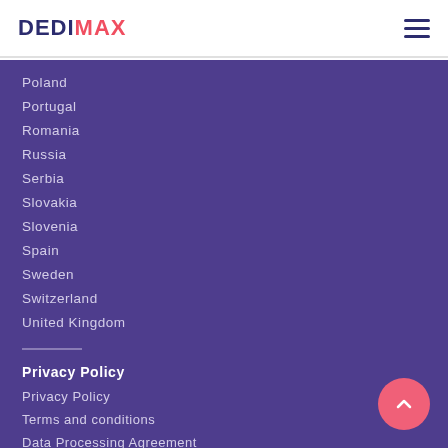DEDIMAX
Poland
Portugal
Romania
Russia
Serbia
Slovakia
Slovenia
Spain
Sweden
Switzerland
United Kingdom
Privacy Policy
Privacy Policy
Terms and conditions
Data Processing Agreement